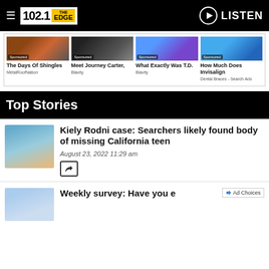102.1 THE EDGE — LISTEN
[Figure (photo): Four sponsored content cards with photos: The Days Of Shingles (MetalRoofNation), Meet Journey Carter (Blavity), What Exactly Was T.D. (Blavity), How Much Does Invisalign (Dental Braces - Search Ads)]
Top Stories
[Figure (photo): Thumbnail photo of Kiely Rodni, young woman outdoors]
Kiely Rodni case: Searchers likely found body of missing California teen
August 23, 2022  11:29 am
[Figure (photo): Thumbnail photo for Weekly survey story]
Weekly survey: Have you e